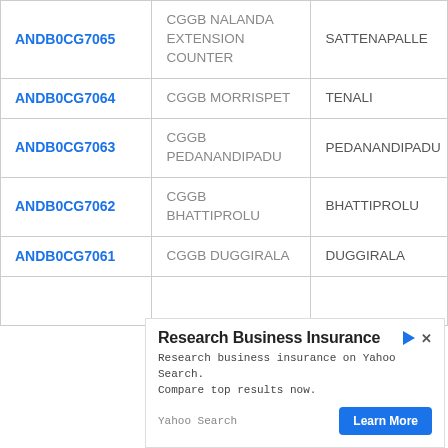| IFSC Code | Branch Name | City |
| --- | --- | --- |
| ANDB0CG7065 | CGGB NALANDA EXTENSION COUNTER | SATTENAPALLE |
| ANDB0CG7064 | CGGB MORRISPET | TENALI |
| ANDB0CG7063 | CGGB PEDANANDIPADU | PEDANANDIPADU |
| ANDB0CG7062 | CGGB BHATTIPROLU | BHATTIPROLU |
| ANDB0CG7061 | CGGB DUGGIRALA | DUGGIRALA |
[Figure (screenshot): Advertisement banner for Research Business Insurance via Yahoo Search with a Learn More button]